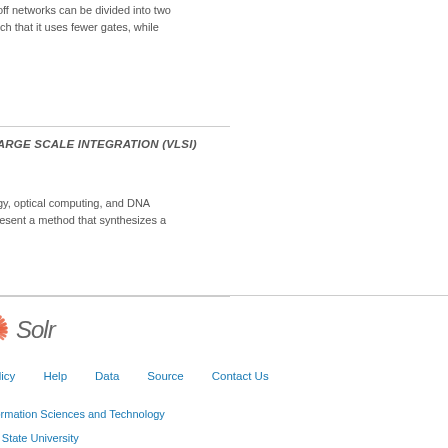of rolloff networks can be divided into two
ork such that it uses fewer gates, while
RY LARGE SCALE INTEGRATION (VLSI)
hnology, optical computing, and DNA
We present a method that synthesizes a
[Figure (logo): Solr search engine logo with red sunburst icon and italic 'Solr' text]
cy Policy   Help   Data   Source   Contact Us
of Information Sciences and Technology
lvania State University